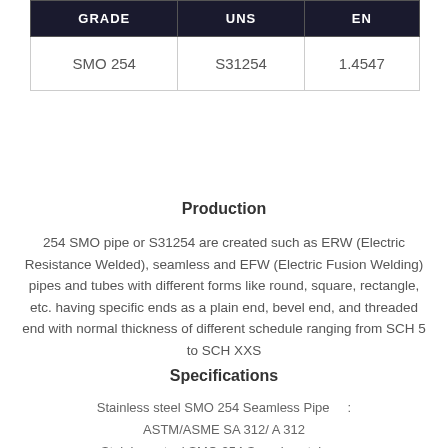| GRADE | UNS | EN |
| --- | --- | --- |
| SMO 254 | S31254 | 1.4547 |
Production
254 SMO pipe or S31254 are created such as ERW (Electric Resistance Welded), seamless and EFW (Electric Fusion Welding) pipes and tubes with different forms like round, square, rectangle, etc. having specific ends as a plain end, bevel end, and threaded end with normal thickness of different schedule ranging from SCH 5 to SCH XXS
Specifications
Stainless steel SMO 254 Seamless Pipe   :   ASTM/ASME SA 312/ A 312
Stainless steel SMO 254 Seamless tube   :